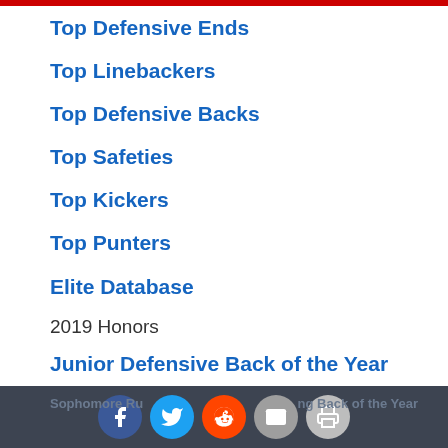Top Defensive Ends
Top Linebackers
Top Defensive Backs
Top Safeties
Top Kickers
Top Punters
Elite Database
2019 Honors
Junior Defensive Back of the Year
Junior Kicker of the Year
Junior Punter of the Year
Sophomore Quarterback of the Year
Sophomore Running Back of the Year [social icons]